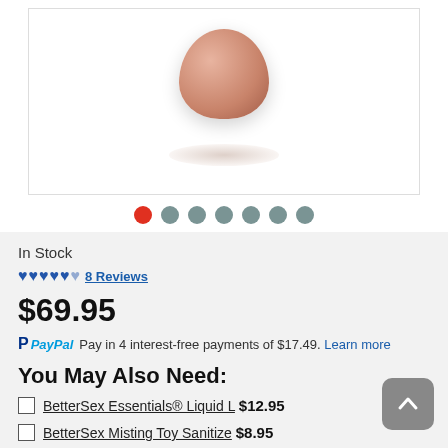[Figure (photo): Product photo of a rose gold rounded device on white background with shadow beneath]
In Stock
♥♥♥♥♥½ 8 Reviews
$69.95
PayPal Pay in 4 interest-free payments of $17.49. Learn more
You May Also Need:
BetterSex Essentials® Liquid L $12.95
BetterSex Misting Toy Sanitize $8.95